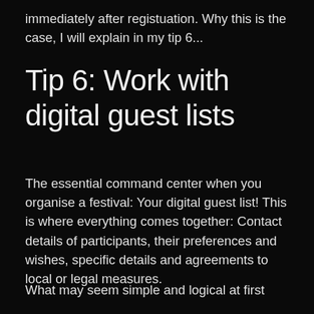immediately after registuation. Why this is the case, I will explain in my tip 6...
Tip 6: Work with digital guest lists
The essential command center when you organise a festival: Your digital guest list! This is where everything comes together: Contact details of participants, their preferences and wishes, specific details and agreements to local or legal measures.
What may seem simple and logical at first